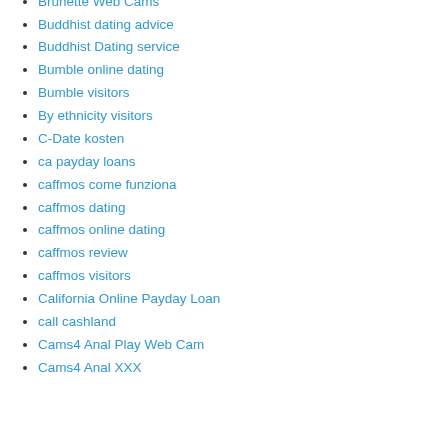Brunette Web Cams
Buddhist dating advice
Buddhist Dating service
Bumble online dating
Bumble visitors
By ethnicity visitors
C-Date kosten
ca payday loans
caffmos come funziona
caffmos dating
caffmos online dating
caffmos review
caffmos visitors
California Online Payday Loan
call cashland
Cams4 Anal Play Web Cam
Cams4 Anal XXX